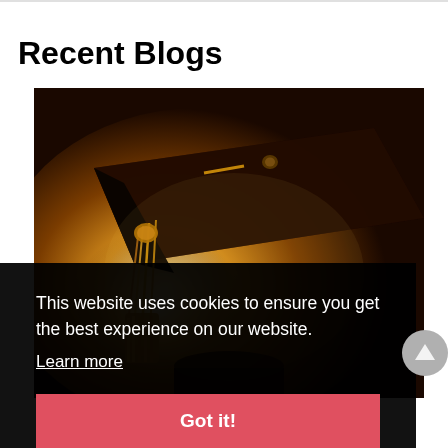Recent Blogs
[Figure (photo): Close-up of a graduation cap (mortarboard) with a gold tassel against a warm backlit orange/golden background. The cap is dark brown/black, silhouetted against bright warm light.]
This website uses cookies to ensure you get the best experience on our website.
Learn more
Got it!